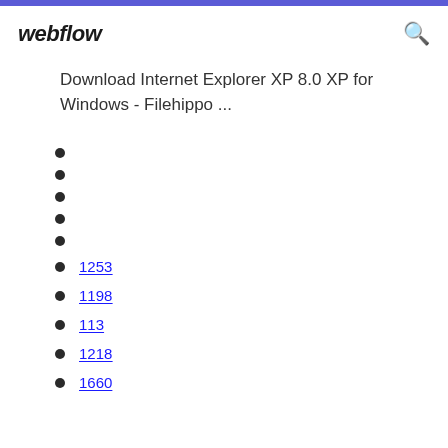webflow
Download Internet Explorer XP 8.0 XP for Windows - Filehippo ...
1253
1198
113
1218
1660